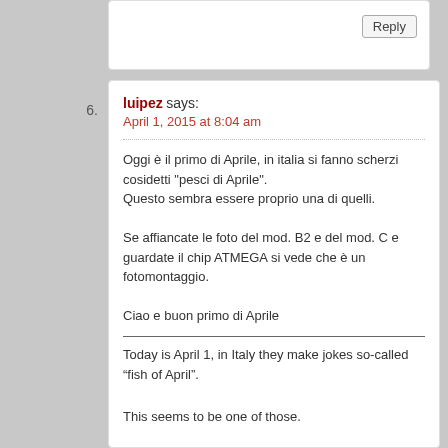Reply
luipez says:
April 1, 2015 at 8:04 am
Oggi è il primo di Aprile, in italia si fanno scherzi cosidetti "pesci di Aprile".
Questo sembra essere proprio una di quelli.

Se affiancate le foto del mod. B2 e del mod. C e guardate il chip ATMEGA si vede che è un fotomontaggio.

Ciao e buon primo di Aprile
Today is April 1, in Italy they make jokes so-called “fish of April”.

This seems to be one of those.

If alongside photos of the mod. B2 and the mod. C and watch the ATMEGA chip you see that it is a photomontage.

Hello and good April 1